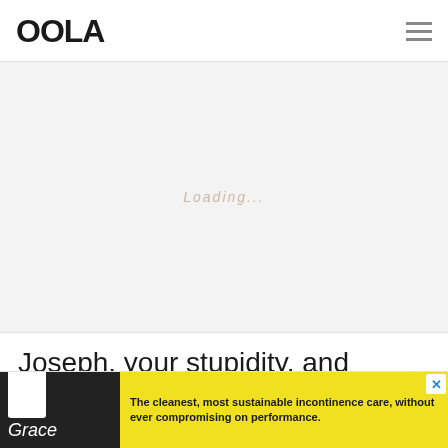OOLA
[Figure (other): Large light gray advertisement placeholder area with faint italic loading text in center]
Joseph, your stupidity, and sacrifice will never be forgotten. Thanks for
[Figure (infographic): Bottom banner advertisement for incontinence care product. Left side shows dark image with 'Attn: Grace' text and white product. Right side has yellow background with text: 'The cleanest, most sustainable incontinence care, without ever compromising on performance.' Close button (x) in top right corner.]